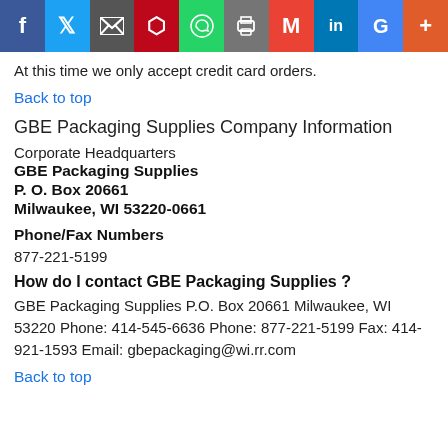[Figure (other): Social media sharing bar with icons: Facebook, Twitter, Email, Pinterest, WhatsApp, Print, Gmail, LinkedIn, Google, Plus]
At this time we only accept credit card orders.
Back to top
GBE Packaging Supplies Company Information
Corporate Headquarters
GBE Packaging Supplies
P. O. Box 20661
Milwaukee, WI 53220-0661
Phone/Fax Numbers
877-221-5199
How do I contact GBE Packaging Supplies ?
GBE Packaging Supplies P.O. Box 20661 Milwaukee, WI 53220 Phone: 414-545-6636 Phone: 877-221-5199 Fax: 414-921-1593 Email: gbepackaging@wi.rr.com
Back to top